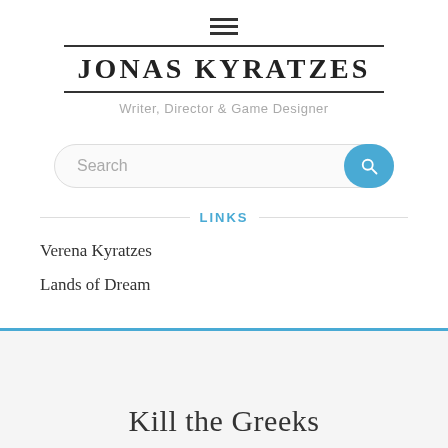[Figure (other): Hamburger menu icon (three horizontal lines)]
JONAS KYRATZES
Writer, Director & Game Designer
[Figure (other): Search bar with blue search button icon]
LINKS
Verena Kyratzes
Lands of Dream
Kill the Greeks